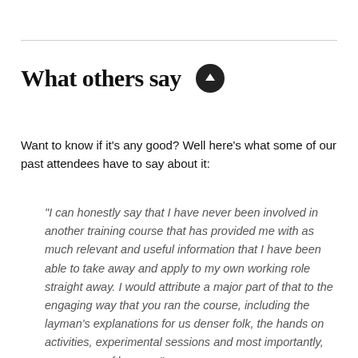What others say
Want to know if it's any good? Well here's what some of our past attendees have to say about it:
"I can honestly say that I have never been involved in another training course that has provided me with as much relevant and useful information that I have been able to take away and apply to my own working role straight away. I would attribute a major part of that to the engaging way that you ran the course, including the layman's explanations for us denser folk, the hands on activities, experimental sessions and most importantly, your sense of humour."